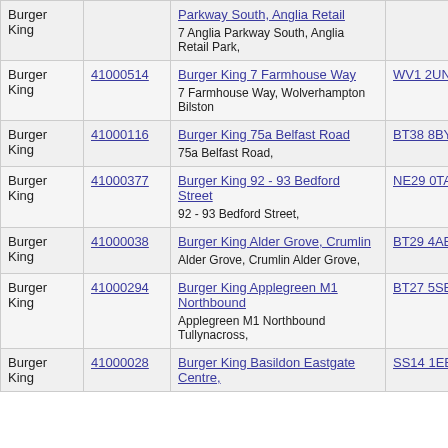| Name | ID | Location | Postcode | S/F | M |
| --- | --- | --- | --- | --- | --- |
| Burger King |  | Parkway South, Anglia Retail
7 Anglia Parkway South, Anglia Retail Park, | F |  |  |
| Burger King | 41000514 | Burger King 7 Farmhouse Way
7 Farmhouse Way, Wolverhampton Bilston | WV1 2UN | S F | M |
| Burger King | 41000116 | Burger King 75a Belfast Road
75a Belfast Road, | BT38 8BY | S F | M |
| Burger King | 41000377 | Burger King 92 - 93 Bedford Street
92 - 93 Bedford Street, | NE29 0TA | S F | M |
| Burger King | 41000038 | Burger King Alder Grove, Crumlin
Alder Grove, Crumlin Alder Grove, | BT29 4AB | S F | M |
| Burger King | 41000294 | Burger King Applegreen M1 Northbound
Applegreen M1 Northbound Tullynacross, | BT27 5SE | S F | M |
| Burger King | 41000028 | Burger King Basildon Eastgate Centre, | SS14 1EB | S F | M |